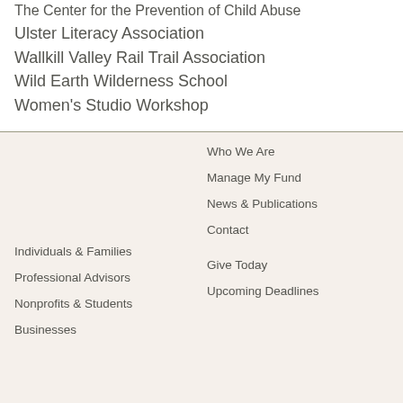The Center for the Prevention of Child Abuse
Ulster Literacy Association
Wallkill Valley Rail Trail Association
Wild Earth Wilderness School
Women's Studio Workshop
Who We Are
Manage My Fund
News & Publications
Contact
Give Today
Upcoming Deadlines
Individuals & Families
Professional Advisors
Nonprofits & Students
Businesses